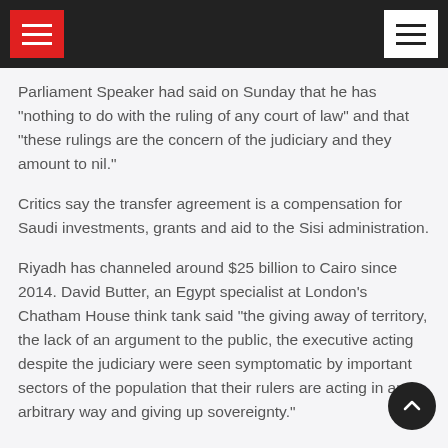Navigation header bar with hamburger menus
Parliament Speaker had said on Sunday that he has “nothing to do with the ruling of any court of law” and that “these rulings are the concern of the judiciary and they amount to nil.”
Critics say the transfer agreement is a compensation for Saudi investments, grants and aid to the Sisi administration.
Riyadh has channeled around $25 billion to Cairo since 2014. David Butter, an Egypt specialist at London’s Chatham House think tank said “the giving away of territory, the lack of an argument to the public, the executive acting despite the judiciary were seen symptomatic by important sectors of the population that their rulers are acting in an arbitrary way and giving up sovereignty.”